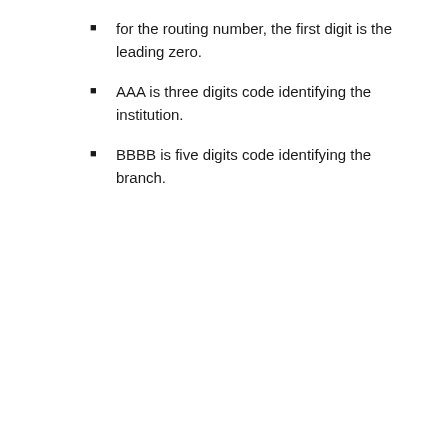for the routing number, the first digit is the leading zero.
AAA is three digits code identifying the institution.
BBBB is five digits code identifying the branch.